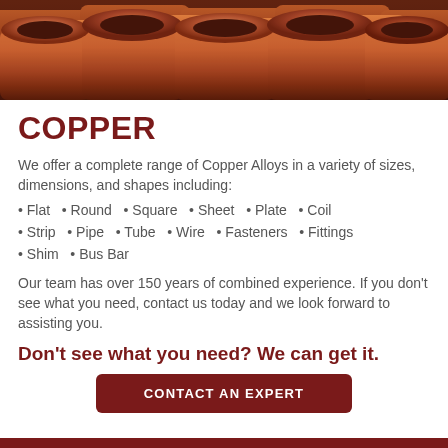[Figure (photo): Close-up photo of multiple copper tubes/pipes arranged together, showing their characteristic reddish-brown metallic surface.]
COPPER
We offer a complete range of Copper Alloys in a variety of sizes, dimensions, and shapes including:
Flat  • Round  • Square  • Sheet  • Plate  • Coil
Strip  • Pipe  • Tube  • Wire  • Fasteners  • Fittings
Shim  • Bus Bar
Our team has over 150 years of combined experience. If you don't see what you need, contact us today and we look forward to assisting you.
Don't see what you need? We can get it.
CONTACT AN EXPERT